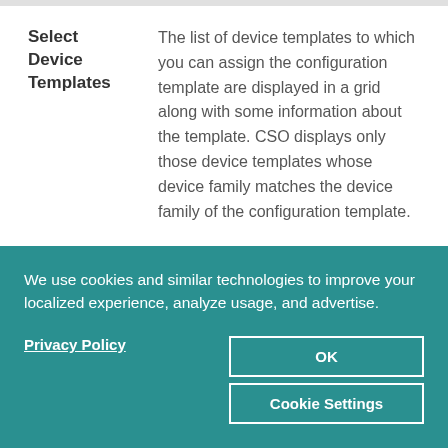| Field | Description |
| --- | --- |
| Select Device Templates | The list of device templates to which you can assign the configuration template are displayed in a grid along with some information about the template. CSO displays only those device templates whose device family matches the device family of the configuration template.

Select one or more device templates to which you want to assign the configuration |
We use cookies and similar technologies to improve your localized experience, analyze usage, and advertise.
Privacy Policy
OK
Cookie Settings